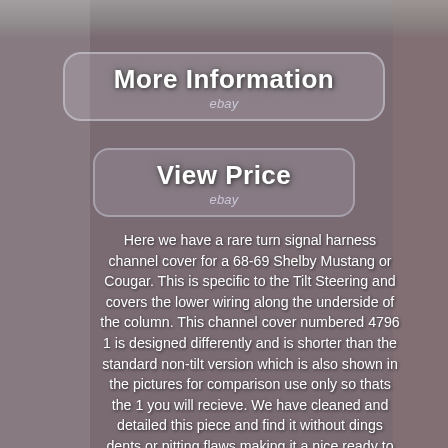[Figure (photo): Top strip showing partial product/background photo]
[Figure (other): eBay 'More Information' button with rounded rectangle border]
[Figure (other): eBay 'View Price' button with rounded rectangle border]
Here we have a rare turn signal harness channel cover for a 68-69 Shelby Mustang or Cougar. This is specific to the Tilt Steering and covers the lower wiring along the underside of the column. This channel cover numbered 4796 1 is designed differently and is shorter than the standard non-tilt version which is also shown in the pictures for comparison use only so thats the 1 you will recieve. We have cleaned and detailed this piece and find it without dings dents or pitting flaws making it a nice ready to install part although those with concourse cars might repaint to match their interior color.